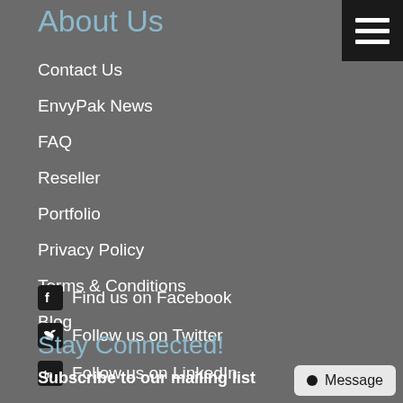About Us
Contact Us
EnvyPak News
FAQ
Reseller
Portfolio
Privacy Policy
Terms & Conditions
Blog
Find us on Facebook
Follow us on Twitter
Follow us on LinkedIn
Stay Connected!
Subscribe to our mailing list